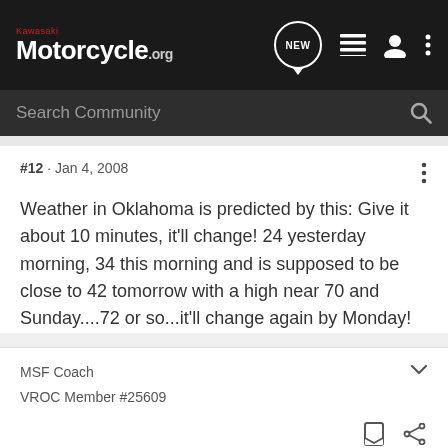Kawasaki Motorcycle.org
Search Community
#12 · Jan 4, 2008
Weather in Oklahoma is predicted by this: Give it about 10 minutes, it'll change! 24 yesterday morning, 34 this morning and is supposed to be close to 42 tomorrow with a high near 70 and Sunday....72 or so...it'll change again by Monday!
MSF Coach
VROC Member #25609